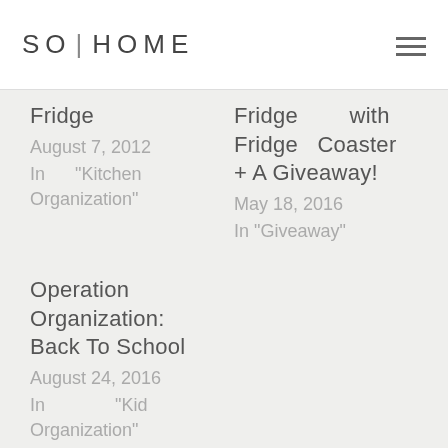SO|HOME
Fridge
August 7, 2012
In "Kitchen Organization"
Fridge with Fridge Coaster + A Giveaway!
May 18, 2016
In "Giveaway"
Operation Organization: Back To School
August 24, 2016
In "Kid Organization"